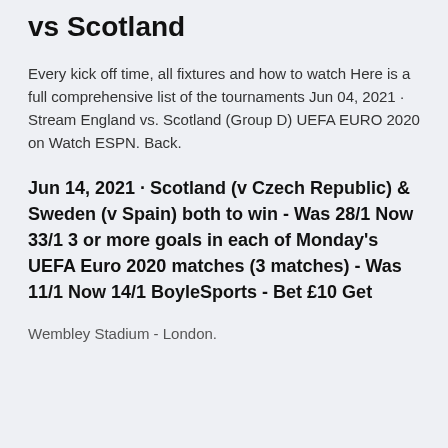vs Scotland
Every kick off time, all fixtures and how to watch Here is a full comprehensive list of the tournaments Jun 04, 2021 · Stream England vs. Scotland (Group D) UEFA EURO 2020 on Watch ESPN. Back.
Jun 14, 2021 · Scotland (v Czech Republic) & Sweden (v Spain) both to win - Was 28/1 Now 33/1 3 or more goals in each of Monday's UEFA Euro 2020 matches (3 matches) - Was 11/1 Now 14/1 BoyleSports - Bet £10 Get
Wembley Stadium - London.